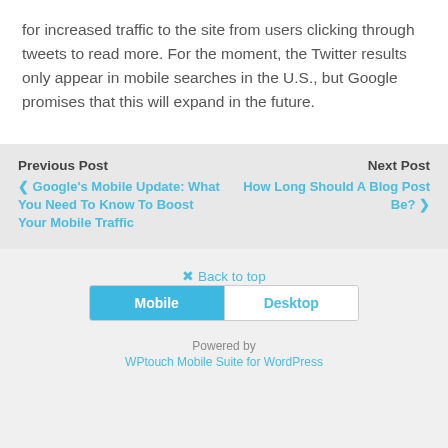for increased traffic to the site from users clicking through tweets to read more. For the moment, the Twitter results only appear in mobile searches in the U.S., but Google promises that this will expand in the future.
Previous Post
❮ Google's Mobile Update: What You Need To Know To Boost Your Mobile Traffic
Next Post
How Long Should A Blog Post Be? ❯
✰ Back to top
Mobile
Desktop
Powered by
WPtouch Mobile Suite for WordPress